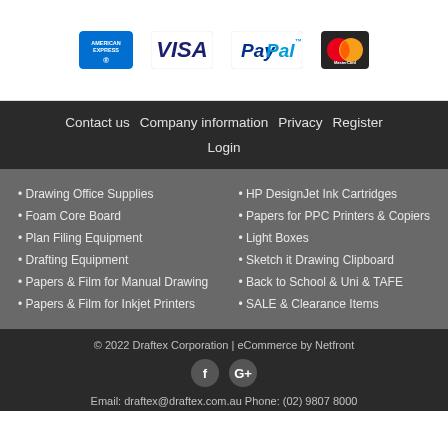[Figure (logo): Payment method logos: American Express, Visa, PayPal, MasterCard]
Contact us   Company information   Privacy   Register
Login
Drawing Office Supplies
Foam Core Board
Plan Filing Equipment
Drafting Equipment
Papers & Film for Manual Drawing
Papers & Film for Inkjet Printers
HP DesignJet Ink Cartridges
Papers for PPC Printers & Copiers
Light Boxes
Sketch it Drawing Clipboard
Back to School & Uni & TAFE
SALE & Clearance Items
© 2022 Draftex Corporation | eCommerce by Netfront
Email: draftex@draftex.com.au Phone: (02) 9807 8000